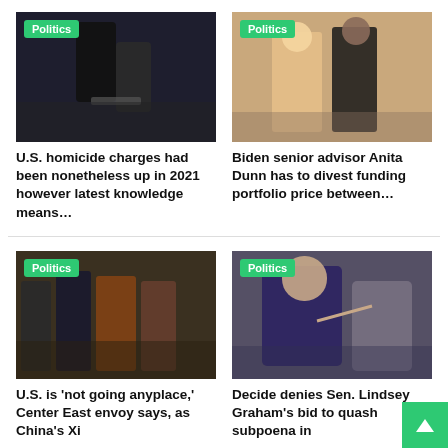[Figure (photo): Police officer arresting someone, handcuffs visible, dark clothing]
Politics
U.S. homicide charges had been nonetheless up in 2021 however latest knowledge means…
[Figure (photo): Woman in pink jacket walking in Senate hallway with another woman in black dress]
Politics
Biden senior advisor Anita Dunn has to divest funding portfolio price between…
[Figure (photo): U.S. officials walking with Middle Eastern dignitaries in traditional dress]
Politics
U.S. is 'not going anyplace,' Center East envoy says, as China's Xi
[Figure (photo): Senator Lindsey Graham pointing finger, speaking at hearing]
Politics
Decide denies Sen. Lindsey Graham's bid to quash subpoena in